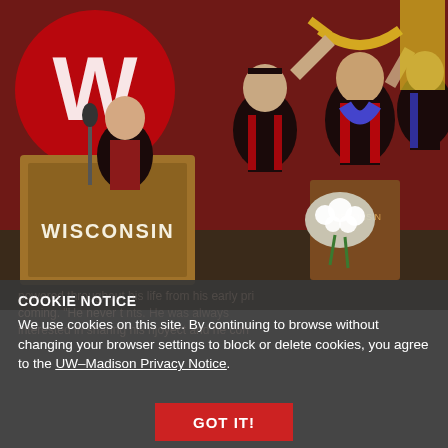[Figure (photo): University of Wisconsin graduation ceremony. Several people in academic regalia on a stage. A wooden podium with 'WISCONSIN' written on it is visible on the left. A large red 'W' logo is visible in the background. A person appears to be receiving a doctoral hood/stole from others on stage.]
COOKIE NOTICE
We use cookies on this site. By continuing to browse without changing your browser settings to block or delete cookies, you agree to the UW–Madison Privacy Notice.
GOT IT!